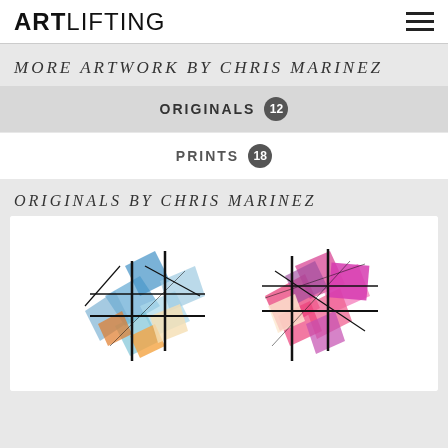ARTLIFTING
MORE ARTWORK BY CHRIS MARINEZ
ORIGINALS 12
PRINTS 18
ORIGINALS BY CHRIS MARINEZ
[Figure (illustration): Two abstract geometric artworks side by side composed of overlapping colored quadrilaterals (squares, rectangles, parallelograms) in blue/orange/tan and pink/magenta/purple tones, connected by a black line grid structure.]